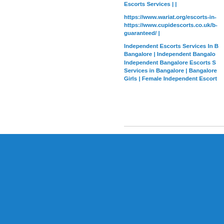Escorts Services | |
https://www.wariat.org/escorts-in- https://www.cupidescorts.co.uk/b- guaranteed/ |
Independent Escorts Services In B Bangalore | Independent Bangalo Independent Bangalore Escorts S Services in Bangalore | Bangalore Girls | Female Independent Escort